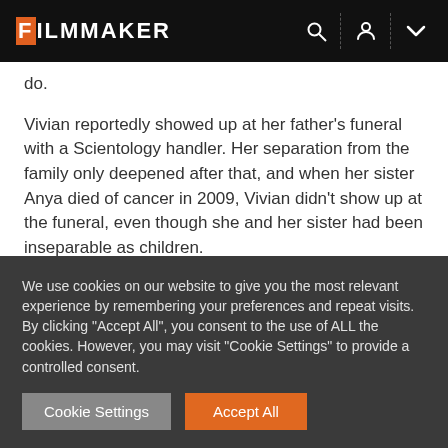FILMMAKER
do.
Vivian reportedly showed up at her father's funeral with a Scientology handler. Her separation from the family only deepened after that, and when her sister Anya died of cancer in 2009, Vivian didn't show up at the funeral, even though she and her sister had been inseparable as children.
Vivian's disconnection was keenly felt by her famous father, who had been treating her like a protege. She
We use cookies on our website to give you the most relevant experience by remembering your preferences and repeat visits. By clicking "Accept All", you consent to the use of ALL the cookies. However, you may visit "Cookie Settings" to provide a controlled consent.